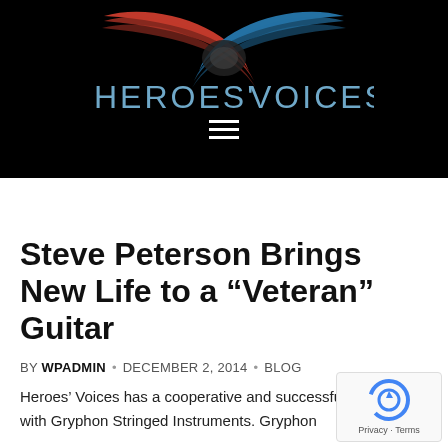[Figure (logo): Heroes' Voices logo with red and blue swoosh/ribbon graphic above text reading HEROES' VOICES on black background]
Steve Peterson Brings New Life to a “Veteran” Guitar
BY WPADMIN • DECEMBER 2, 2014 • BLOG
Heroes’ Voices has a cooperative and successful relationship with Gryphon Stringed Instruments. Gryphon